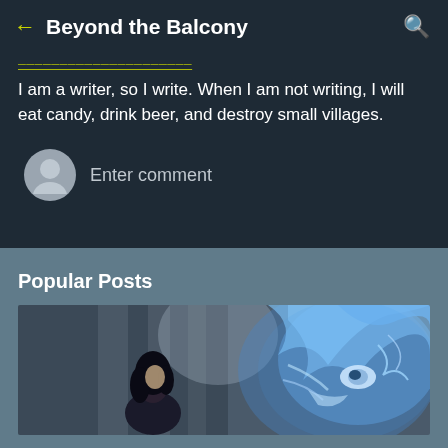Beyond the Balcony
I am a writer, so I write. When I am not writing, I will eat candy, drink beer, and destroy small villages.
Enter comment
Popular Posts
[Figure (photo): Animated movie scene showing a young woman with dark hair facing a large glowing blue wolf-like creature with flowing blue fur, indoors with pillars in the background]